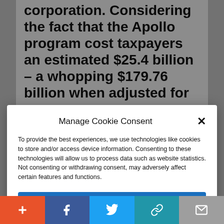corporation. Considering the fact that the Apollo program cost taxpayers an estimated $25.4 billion – a whopping $179.76 billion when adjusted for
Manage Cookie Consent
To provide the best experiences, we use technologies like cookies to store and/or access device information. Consenting to these technologies will allow us to process data such as website statistics. Not consenting or withdrawing consent, may adversely affect certain features and functions.
Accept
Cookie Policy  Privacy Policy
and Elon Musk's SpaceX are doing what the private sector does best: Whatever it
+ f Twitter link mail